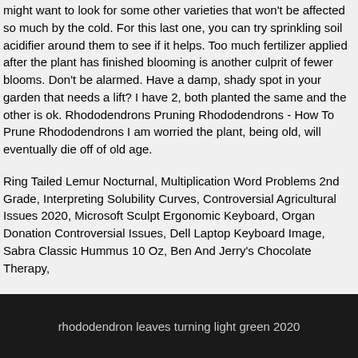might want to look for some other varieties that won't be affected so much by the cold. For this last one, you can try sprinkling soil acidifier around them to see if it helps. Too much fertilizer applied after the plant has finished blooming is another culprit of fewer blooms. Don't be alarmed. Have a damp, shady spot in your garden that needs a lift? I have 2, both planted the same and the other is ok. Rhododendrons Pruning Rhododendrons - How To Prune Rhododendrons I am worried the plant, being old, will eventually die off of old age.
Ring Tailed Lemur Nocturnal, Multiplication Word Problems 2nd Grade, Interpreting Solubility Curves, Controversial Agricultural Issues 2020, Microsoft Sculpt Ergonomic Keyboard, Organ Donation Controversial Issues, Dell Laptop Keyboard Image, Sabra Classic Hummus 10 Oz, Ben And Jerry's Chocolate Therapy,
rhododendron leaves turning light green 2020